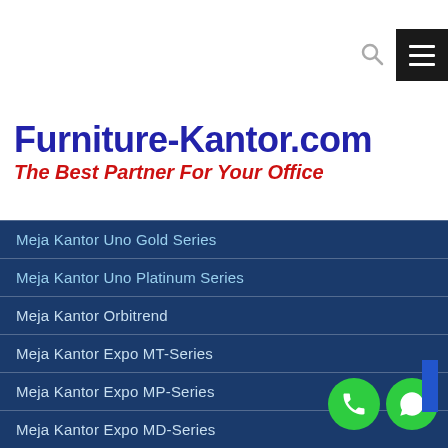Furniture-Kantor.com — The Best Partner For Your Office
Furniture-Kantor.com
The Best Partner For Your Office
Meja Kantor Uno Gold Series
Meja Kantor Uno Platinum Series
Meja Kantor Orbitrend
Meja Kantor Expo MT-Series
Meja Kantor Expo MP-Series
Meja Kantor Expo MD-Series
Meja Rapat Modera
Meja Receptionist Modera